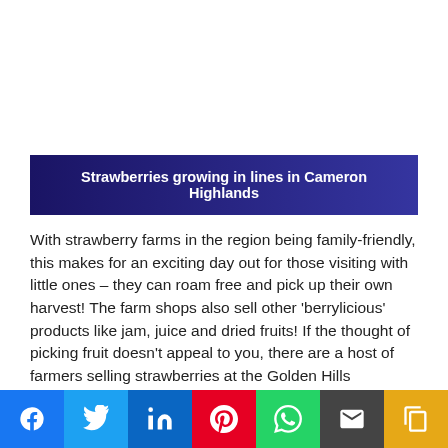Strawberries growing in lines in Cameron Highlands
With strawberry farms in the region being family-friendly, this makes for an exciting day out for those visiting with little ones – they can roam free and pick up their own harvest! The farm shops also sell other 'berrylicious' products like jam, juice and dried fruits! If the thought of picking fruit doesn't appeal to you, there are a host of farmers selling strawberries at the Golden Hills Weekend Night Market (also a must-visit) – you can even opt for them to be coated in chocolate!
[Figure (other): Social media share buttons: Facebook, Twitter, LinkedIn, Pinterest, WhatsApp, Email, Copy]